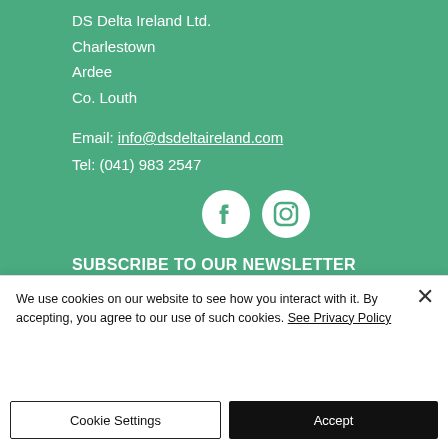DS Delta Ireland Ltd.
Charlestown
Ardee
Co. Louth
Email: info@dsdeltaireland.com
Tel: (041) 983 2547
[Figure (illustration): Facebook and Instagram circular white social media icons on green background]
SUBSCRIBE TO OUR NEWSLETTER FOR LATEST OFFERS
We use cookies on our website to see how you interact with it. By accepting, you agree to our use of such cookies. See Privacy Policy
Cookie Settings
Accept